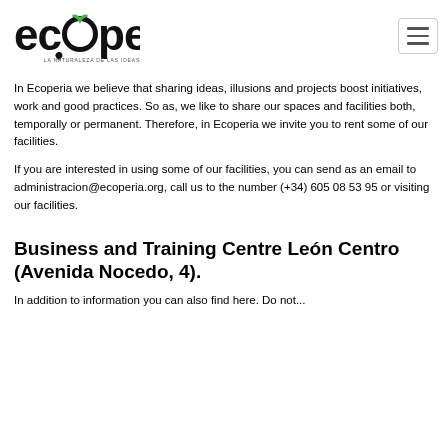[Figure (logo): Ecoperia logo with green leaf on the letter O and a lightbulb beneath, with text 'LA NATURALEZA DE LAS IDEAS' below]
In Ecoperia we believe that sharing ideas, illusions and projects boost initiatives, work and good practices. So as, we like to share our spaces and facilities both, temporally or permanent. Therefore, in Ecoperia we invite you to rent some of our facilities.
If you are interested in using some of our facilities, you can send as an email to administracion@ecoperia.org, call us to the number (+34) 605 08 53 95 or visiting our facilities.
Business and Training Centre León Centro (Avenida Nocedo, 4).
In addition to information you can also find here. Do not...